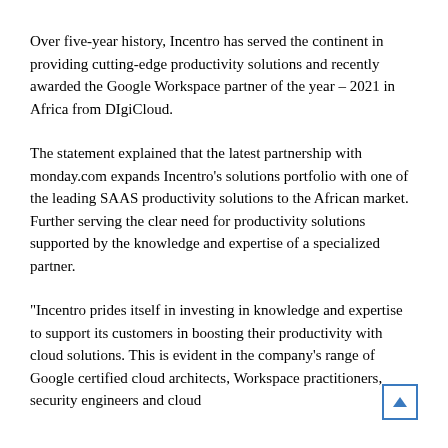Over five-year history, Incentro has served the continent in providing cutting-edge productivity solutions and recently awarded the Google Workspace partner of the year – 2021 in Africa from DIgiCloud.
The statement explained that the latest partnership with monday.com expands Incentro's solutions portfolio with one of the leading SAAS productivity solutions to the African market. Further serving the clear need for productivity solutions supported by the knowledge and expertise of a specialized partner.
"Incentro prides itself in investing in knowledge and expertise to support its customers in boosting their productivity with cloud solutions. This is evident in the company's range of Google certified cloud architects, Workspace practitioners, security engineers and cloud